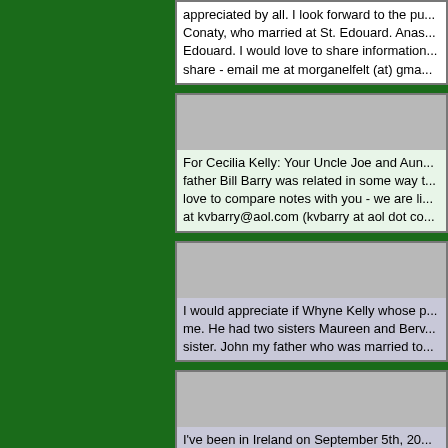appreciated by all. I look forward to the pu... Conaty, who married at St. Edouard. Anas... Edouard. I would love to share information... share - email me at morganelfelt (at) gma...
For Cecilia Kelly: Your Uncle Joe and Aun... father Bill Barry was related in some way t... love to compare notes with you - we are li... at kvbarry@aol.com (kvbarry at aol dot co...
I would appreciate if Whyne Kelly whose p... me. He had two sisters Maureen and Berv... sister. John my father who was married to...
I've been in Ireland on September 5th, 20... ancestors but didn't have time. My great g...